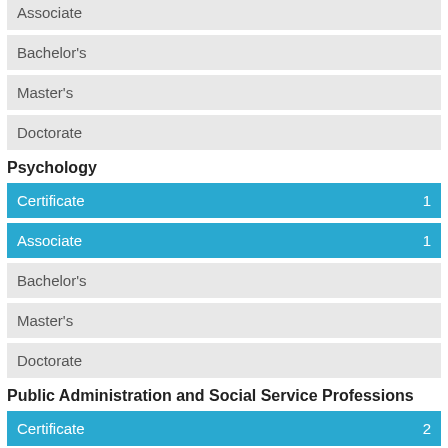Associate
Bachelor's
Master's
Doctorate
Psychology
Certificate 1
Associate 1
Bachelor's
Master's
Doctorate
Public Administration and Social Service Professions
Certificate 2
Associate 1
Bachelor's